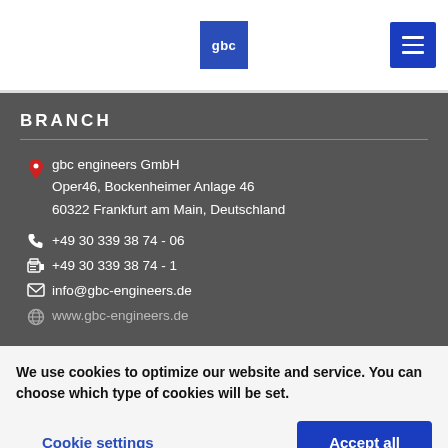[Figure (logo): gbc logo square blue with white text 'gbc' and hamburger menu button top right]
BRANCH
gbc engineers GmbH
Oper46, Bockenheimer Anlage 46
60322 Frankfurt am Main, Deutschland
+49 30 339 38 74 - 06
+49 30 339 38 74 - 1
info@gbc-engineers.de
www.gbc-engineers.de (partially visible)
We use cookies to optimize our website and service. You can choose which type of cookies will be set.
Cookie settings
Accept all